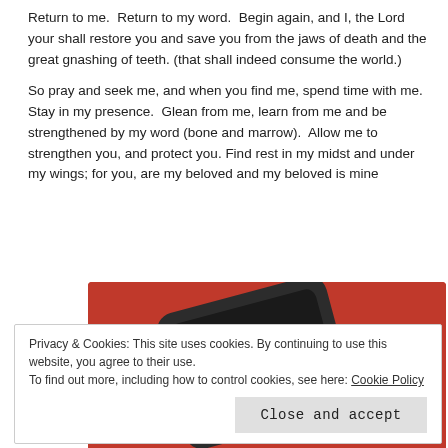Return to me.  Return to my word.  Begin again, and I, the Lord your shall restore you and save you from the jaws of death and the great gnashing of teeth. (that shall indeed consume the world.)
So pray and seek me, and when you find me, spend time with me.  Stay in my presence.  Glean from me, learn from me and be strengthened by my word (bone and marrow).  Allow me to strengthen you, and protect you. Find rest in my midst and under my wings; for you, are my beloved and my beloved is mine
[Figure (photo): A smartphone with a red case showing a music or podcast player app interface on a red background, partially cropped at the bottom.]
Privacy & Cookies: This site uses cookies. By continuing to use this website, you agree to their use.
To find out more, including how to control cookies, see here: Cookie Policy
Close and accept